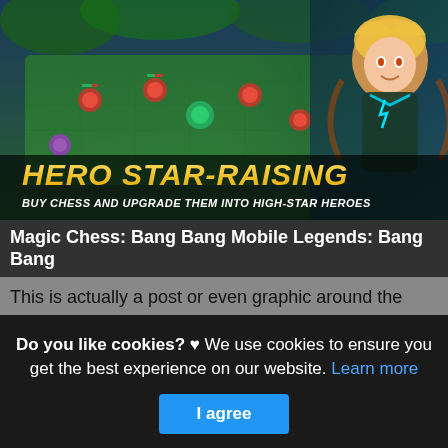[Figure (screenshot): Game screenshot of Magic Chess: Bang Bang showing a top-down chess battle arena with heroes, and an anime character on the right side. Yellow bold text reads 'HERO STAR-RAISING' and below it 'BUY CHESS AND UPGRADE THEM INTO HIGH-STAR HEROES'.]
Magic Chess: Bang Bang Mobile Legends: Bang Bang
This is actually a post or even graphic around the Magic Chess: Bang Bang Mobile Legends: Bang Bang Wiki Fandom, if you desire much a lot extra relevant information around the write-up or even graphic satisfy hit or even
Do you like cookies? ♥ We use cookies to ensure you get the best experience on our website. Learn more
I agree